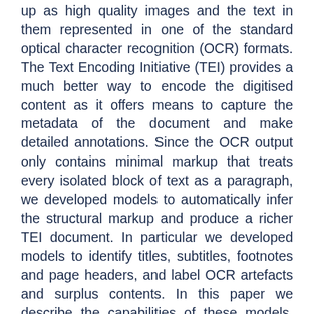up as high quality images and the text in them represented in one of the standard optical character recognition (OCR) formats. The Text Encoding Initiative (TEI) provides a much better way to encode the digitised content as it offers means to capture the metadata of the document and make detailed annotations. Since the OCR output only contains minimal markup that treats every isolated block of text as a paragraph, we developed models to automatically infer the structural markup and produce a richer TEI document. In particular we developed models to identify titles, subtitles, footnotes and page headers, and label OCR artefacts and surplus contents. In this paper we describe the capabilities of these models, our text encoding choices and the open challenges.
Enhancing Lexicography by Means of the Linked Data Paradigm: LexO for CLARIN.
Andrea Bellandi, Fahad Khan and Monica